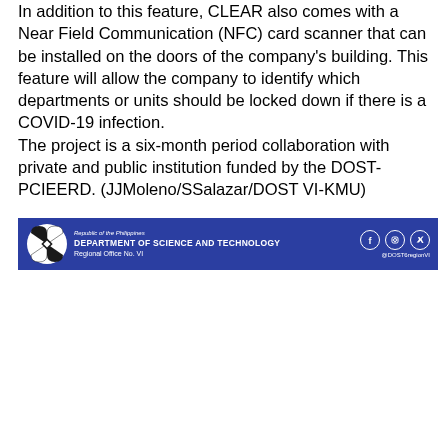In addition to this feature, CLEAR also comes with a Near Field Communication (NFC) card scanner that can be installed on the doors of the company's building. This feature will allow the company to identify which departments or units should be locked down if there is a COVID-19 infection. The project is a six-month period collaboration with private and public institution funded by the DOST-PCIEERD. (JJMoleno/SSalazar/DOST VI-KMU)
[Figure (logo): Department of Science and Technology Regional Office No. VI banner with DOST logo on left, department name text in center-left area, and social media icons (Facebook, Instagram, Twitter) on right with @DOST6regionVI handle]